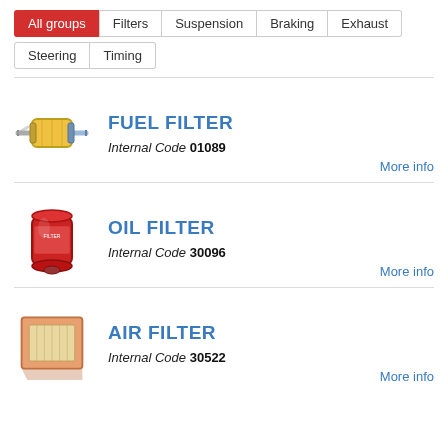All groups
Filters
Suspension
Braking
Exhaust
Steering
Timing
[Figure (illustration): Fuel filter component photo - cylindrical filter with inlet/outlet tubes]
FUEL FILTER
Internal Code 01089
More info
[Figure (illustration): Oil filter component photo - red cylindrical spin-on oil filter]
OIL FILTER
Internal Code 30096
More info
[Figure (illustration): Air filter component photo - flat rectangular panel air filter]
AIR FILTER
Internal Code 30522
More info